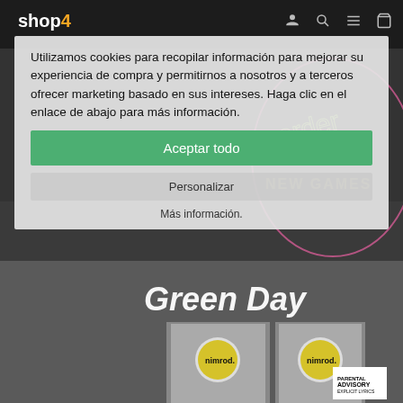[Figure (screenshot): shop4 website with dark navigation bar at top showing logo and icons (person, search, menu, cart)]
[Figure (photo): Green Day Nimrod album cover showing two black-and-white photos of a man in a suit with yellow circles covering the face and 'nimrod.' text, with Parental Advisory label]
Utilizamos cookies para recopilar información para mejorar su experiencia de compra y permitirnos a nosotros y a terceros ofrecer marketing basado en sus intereses. Haga clic en el enlace de abajo para más información.
Aceptar todo
Personalizar
Más información.